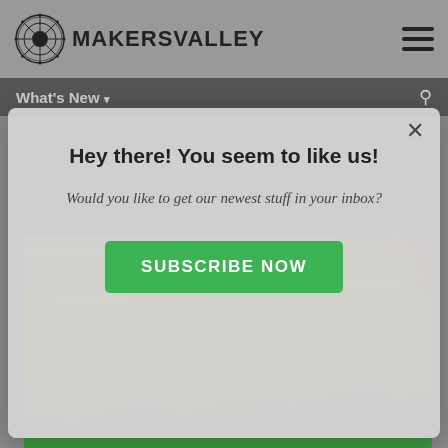MakersValley
How Color Psychology Affects Fashion Design & Branding
[Figure (screenshot): Modal popup overlay on MakersValley blog page with 'Hey there! You seem to like us!' prompt and Subscribe Now button, over a background showing colorful paint/pencil stripes photo]
Hey there! You seem to like us!
Would you like to get our newest stuff in your inbox?